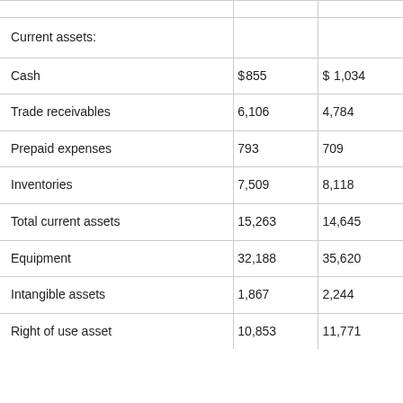|  | Col1 | Col2 |
| --- | --- | --- |
| Current assets: |  |  |
| Cash | $855 | $ 1,034 |
| Trade receivables | 6,106 | 4,784 |
| Prepaid expenses | 793 | 709 |
| Inventories | 7,509 | 8,118 |
| Total current assets | 15,263 | 14,645 |
| Equipment | 32,188 | 35,620 |
| Intangible assets | 1,867 | 2,244 |
| Right of use asset | 10,853 | 11,771 |